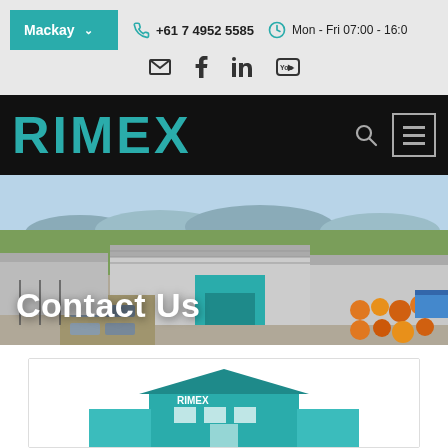Mackay  +61 7 4952 5585  Mon - Fri 07:00 - 16:0
RIMEX
[Figure (photo): Aerial/drone photograph of the RIMEX industrial facility in Mackay showing warehouses, parking lot, and storage yard with coloured equipment]
Contact Us
[Figure (illustration): Partial view of a teal/cyan coloured RIMEX building illustration at the bottom of a contact card]